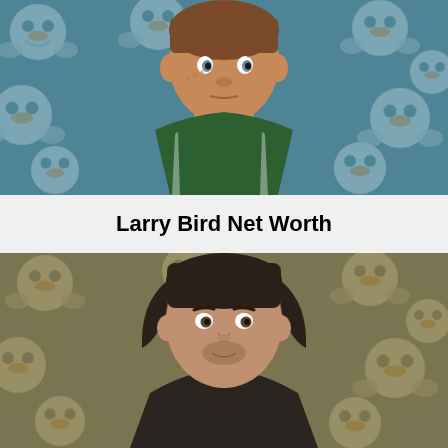[Figure (illustration): Illustrated portrait of Larry Bird in a green Boston Celtics jersey against a teal background with repeating cartoon emoji/duck face pattern]
Larry Bird Net Worth
[Figure (illustration): Illustrated portrait of Brad Pitt with medium-length dark hair against an olive/tan background with repeating cartoon emoji/duck face pattern]